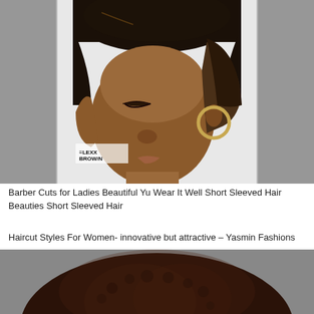[Figure (photo): Close-up photograph of a Black woman with a very short tapered/barber-style natural haircut with a fade on the sides, wearing gold hoop earrings, looking downward. A watermark reads 'LEXX BROWN' in the lower left of the image. The sides of the image show a blurred/vignette version of the same photo.]
Barber Cuts for Ladies Beautiful Yu Wear It Well Short Sleeved Hair Beauties Short Sleeved Hair
Haircut Styles For Women- innovative but attractive – Yasmin Fashions
[Figure (photo): Close-up top-of-head photograph of a Black woman with a large, round natural afro hairstyle, dark brown color, photographed from slightly above against a gray background.]